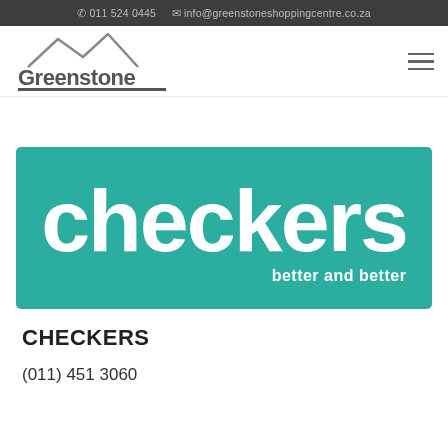📞 011 524 0445   ✉ info@greenstoneshoppingcentre.co.za
[Figure (logo): Greenstone Shopping Centre logo with mountain graphic and tagline 'simply sensational shopping']
[Figure (logo): Checkers brand logo on teal background with tagline 'better and better']
CHECKERS
(011) 451 3060